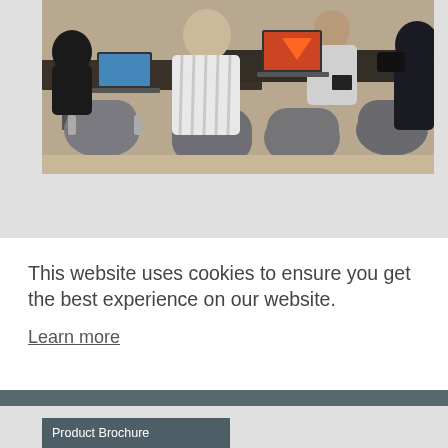[Figure (photo): People sitting at desks in a meeting or training room, viewed from behind, with laptops open on dark tables and modern grey chairs]
Get information >
This website uses cookies to ensure you get the best experience on our website.
Learn more
Got it!
Product Brochure